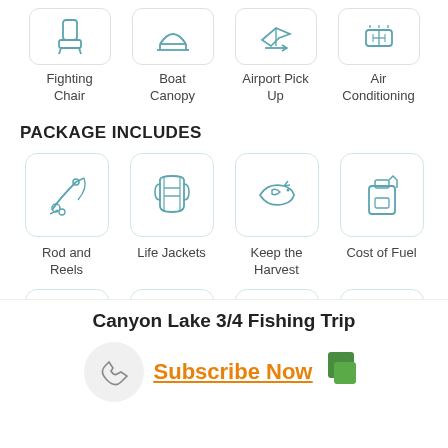[Figure (infographic): Four icon boxes in a row: Fighting Chair, Boat Canopy, Airport Pick Up, Air Conditioning]
Fighting Chair
Boat Canopy
Airport Pick Up
Air Conditioning
PACKAGE INCLUDES
[Figure (infographic): Four icon boxes: Rod and Reels (fishing rod icon), Life Jackets (life vest icon), Keep the Harvest (meat/fish icon), Cost of Fuel (fuel canister icon)]
Rod and Reels
Life Jackets
Keep the Harvest
Cost of Fuel
[Figure (infographic): Four partially visible icon boxes at the bottom of the page]
Canyon Lake 3/4 Fishing Trip
Subscribe Now